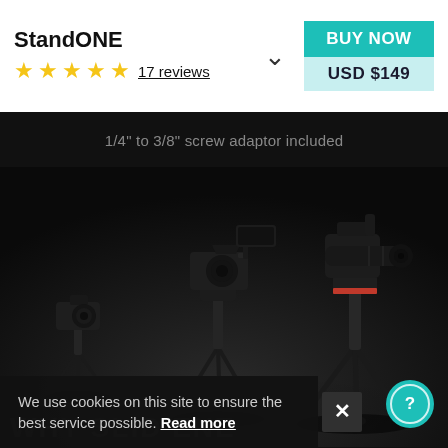StandONE
17 reviews
BUY NOW
USD $149
1/4" to 3/8" screw adaptor included
[Figure (photo): Three camera setups on tripod stands against a dark background: small mirrorless camera on a mini tabletop tripod (left), DSLR with external monitor on a medium tripod (center), and a large cinema camera with long lens on a fluid head tripod (right).]
We use cookies on this site to ensure the best service possible. Read more